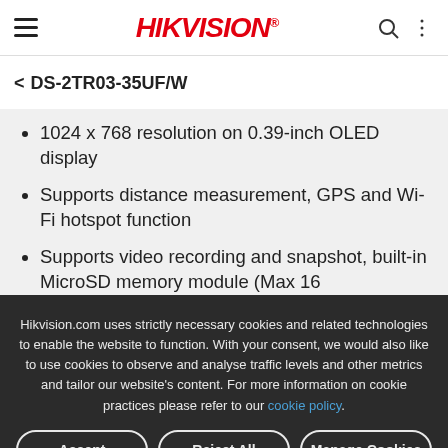HIKVISION
< DS-2TR03-35UF/W
1024 x 768 resolution on 0.39-inch OLED display
Supports distance measurement, GPS and Wi-Fi hotspot function
Supports video recording and snapshot, built-in MicroSD memory module (Max 16
Hikvision.com uses strictly necessary cookies and related technologies to enable the website to function. With your consent, we would also like to use cookies to observe and analyse traffic levels and other metrics and tailor our website’s content. For more information on cookie practices please refer to our cookie policy.
Accept | Reject All | Manage Cookies